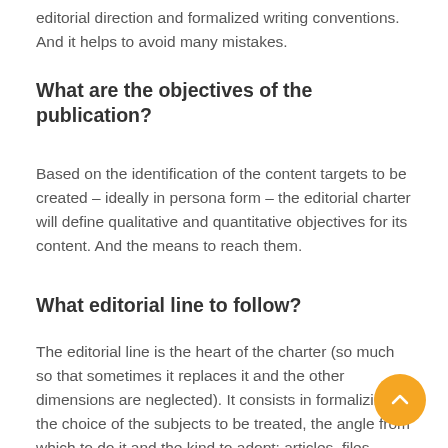editorial direction and formalized writing conventions. And it helps to avoid many mistakes.
What are the objectives of the publication?
Based on the identification of the content targets to be created – ideally in persona form – the editorial charter will define qualitative and quantitative objectives for its content. And the means to reach them.
What editorial line to follow?
The editorial line is the heart of the charter (so much so that sometimes it replaces it and the other dimensions are neglected). It consists in formalizing the choice of the subjects to be treated, the angle from which to do it and the kind to adopt: articles, files, briefs...
The SEO Strategy
It will be a question here of defining a corpus of